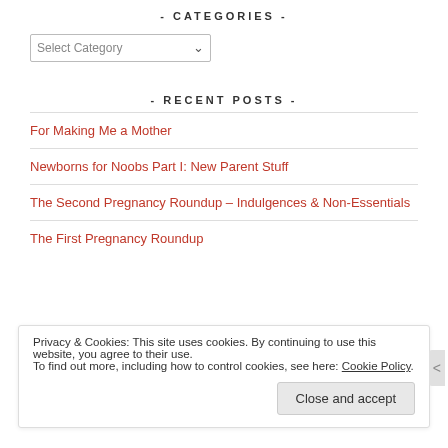- CATEGORIES -
Select Category (dropdown)
- RECENT POSTS -
For Making Me a Mother
Newborns for Noobs Part I: New Parent Stuff
The Second Pregnancy Roundup – Indulgences & Non-Essentials
The First Pregnancy Roundup
Privacy & Cookies: This site uses cookies. By continuing to use this website, you agree to their use. To find out more, including how to control cookies, see here: Cookie Policy Close and accept